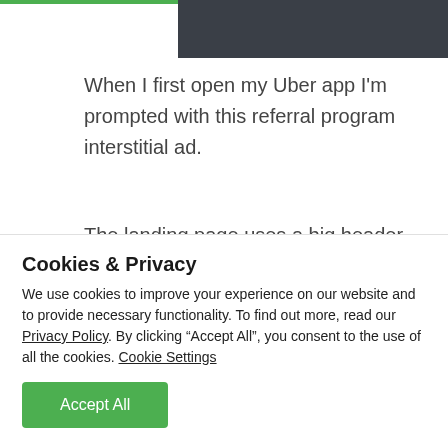[Figure (screenshot): Dark gray rectangular image block at the top of the page, partially showing an Uber app interface]
When I first open my Uber app I'm prompted with this referral program interstitial ad.
The landing page uses a big header to grab my attention and tells me about the potential reward right away. The supporting text gives me the key details of the program without saying too much. And
Cookies & Privacy
We use cookies to improve your experience on our website and to provide necessary functionality. To find out more, read our Privacy Policy. By clicking “Accept All”, you consent to the use of all the cookies. Cookie Settings